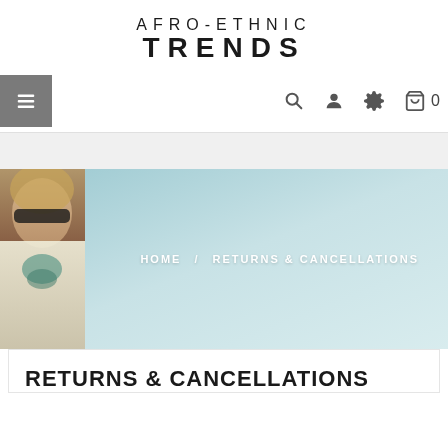AFRO-ETHNIC TRENDS
[Figure (screenshot): Navigation bar with hamburger menu icon on left and search, user, settings, and cart icons on right]
[Figure (photo): Banner image showing a person in ethnic attire with light blue sky background]
HOME / RETURNS & CANCELLATIONS
RETURNS & CANCELLATIONS